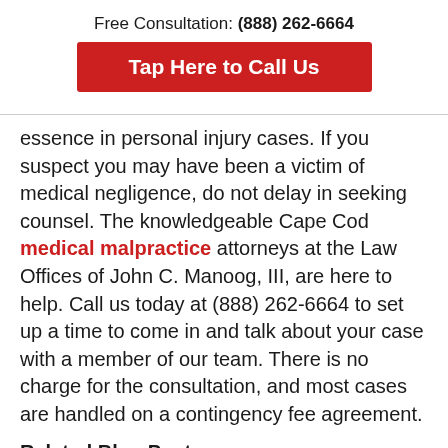Free Consultation: (888) 262-6664
[Figure (other): Red call-to-action button reading 'Tap Here to Call Us']
essence in personal injury cases. If you suspect you may have been a victim of medical negligence, do not delay in seeking counsel. The knowledgeable Cape Cod medical malpractice attorneys at the Law Offices of John C. Manoog, III, are here to help. Call us today at (888) 262-6664 to set up a time to come in and talk about your case with a member of our team. There is no charge for the consultation, and most cases are handled on a contingency fee agreement.
Related Blog Posts: